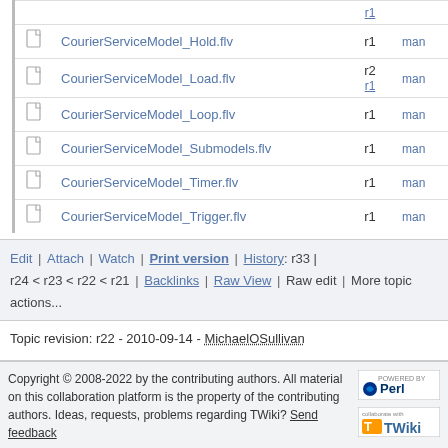|  | File | Rev | Action |
| --- | --- | --- | --- |
| [icon] | CourierServiceModel_Hold.flv | r1 | man |
| [icon] | CourierServiceModel_Load.flv | r2
r1 | man |
| [icon] | CourierServiceModel_Loop.flv | r1 | man |
| [icon] | CourierServiceModel_Submodels.flv | r1 | man |
| [icon] | CourierServiceModel_Timer.flv | r1 | man |
| [icon] | CourierServiceModel_Trigger.flv | r1 | man |
Edit | Attach | Watch | Print version | History: r33 | r24 < r23 < r22 < r21 | Backlinks | Raw View | Raw edit | More topic actions...
Topic revision: r22 - 2010-09-14 - MichaelOSullivan
Copyright © 2008-2022 by the contributing authors. All material on this collaboration platform is the property of the contributing authors. Ideas, requests, problems regarding TWiki? Send feedback
[Figure (logo): Powered by Perl logo]
[Figure (logo): Collaborate with TWiki logo]